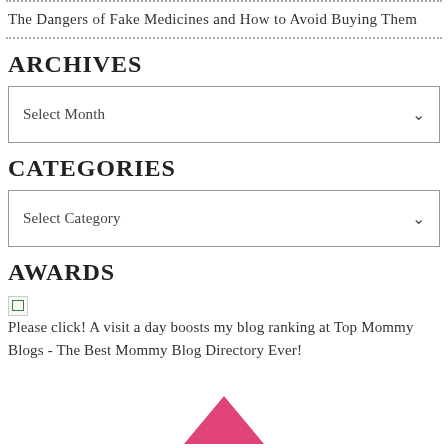The Dangers of Fake Medicines and How to Avoid Buying Them
ARCHIVES
Select Month
CATEGORIES
Select Category
AWARDS
Please click! A visit a day boosts my blog ranking at Top Mommy Blogs - The Best Mommy Blog Directory Ever!
[Figure (illustration): Pink/red diamond/chevron shape at the bottom center of the page]